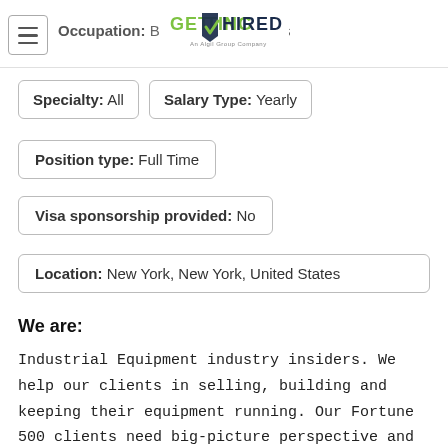Occupation: Business and Financial Operations
[Figure (logo): Getting Hired logo - green and dark navy text with checkmark]
Specialty: All   Salary Type: Yearly
Position type: Full Time
Visa sponsorship provided: No
Location: New York, New York, United States
We are:
Industrial Equipment industry insiders. We help our clients in selling, building and keeping their equipment running. Our Fortune 500 clients need big-picture perspective and solutions, so we come at their challenges from all sides with functional insights, data power, digital leadership, and